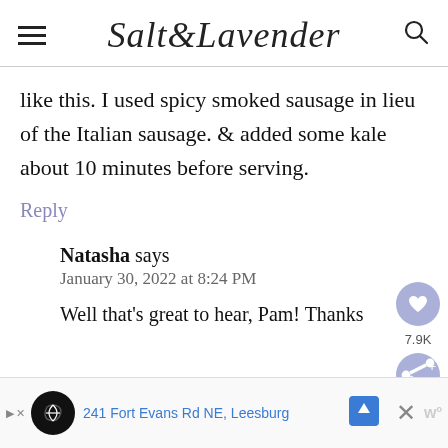Salt & Lavender
like this. I used spicy smoked sausage in lieu of the Italian sausage. & added some kale about 10 minutes before serving.
Reply
Natasha says
January 30, 2022 at 8:24 PM
Well that's great to hear, Pam! Thanks
[Figure (screenshot): Ad bar at bottom showing '241 Fort Evans Rd NE, Leesburg' with map navigation icon]